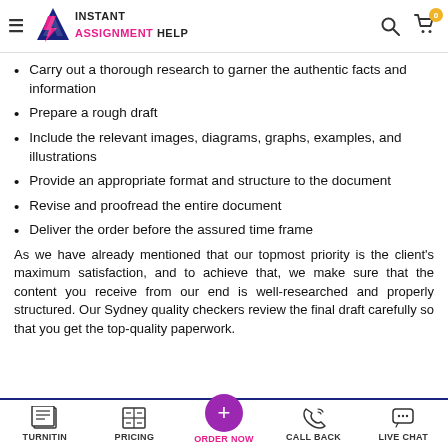INSTANT ASSIGNMENT HELP
Carry out a thorough research to garner the authentic facts and information
Prepare a rough draft
Include the relevant images, diagrams, graphs, examples, and illustrations
Provide an appropriate format and structure to the document
Revise and proofread the entire document
Deliver the order before the assured time frame
As we have already mentioned that our topmost priority is the client's maximum satisfaction, and to achieve that, we make sure that the content you receive from our end is well-researched and properly structured. Our Sydney quality checkers review the final draft carefully so that you get the top-quality paperwork.
TURNITIN | PRICING | ORDER NOW | CALL BACK | LIVE CHAT